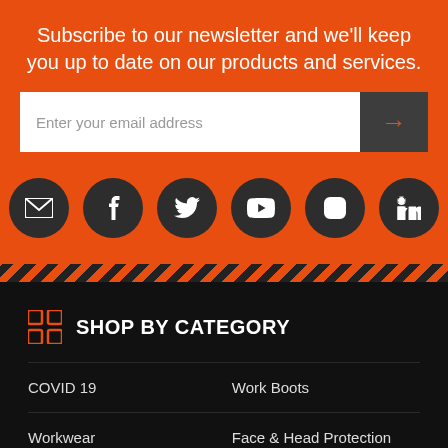Subscribe to our newsletter and we'll keep you up to date on our products and services.
[Figure (infographic): Email input field with placeholder 'Enter your email address' and a dark submit button with orange arrow]
[Figure (infographic): Row of 6 dark circular social media icons: email/envelope, Facebook, Twitter, YouTube, Instagram, LinkedIn]
SHOP BY CATEGORY
COVID 19
Work Boots
Workwear
Face & Head Protection
Eye Protection
Hearing Protection